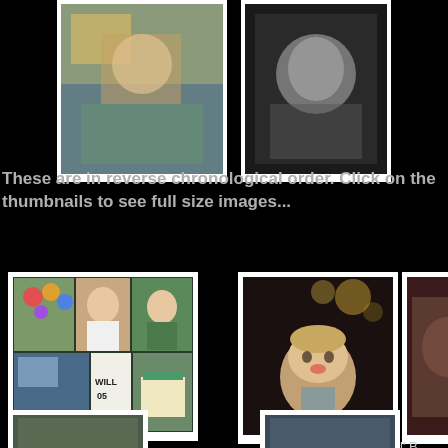[Figure (photo): Two thumbnail photos at top: left shows a baby eating cake, right shows a black-and-white portrait of a baby]
These are in reverse chronological order. Click on the thumbnails to see full size images...
[Figure (photo): Collage of birthday party photos labeled Will's 5th]
Will's 5th
[Figure (photo): Portrait of a boy looking upward, labeled Dedication IV]
Dedication IV
[Figure (photo): Partially visible photo on right edge, labeled Lil' B]
Lil' B
[Figure (photo): Two partially visible thumbnail photos at bottom of page]